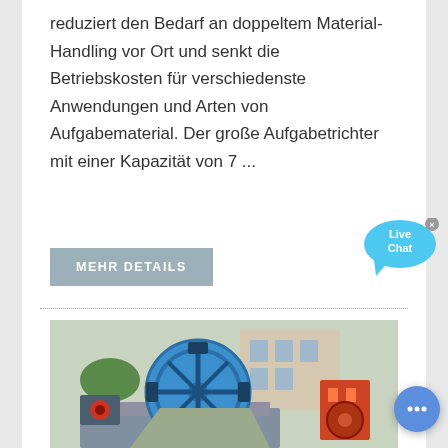reduziert den Bedarf an doppeltem Material-Handling vor Ort und senkt die Betriebskosten für verschiedenste Anwendungen und Arten von Aufgabematerial. Der große Aufgabetrichter mit einer Kapazität von 7 ...
MEHR DETAILS
[Figure (photo): Industrial sand washing machine with large blue wheel/bucket elevator mechanism photographed outdoors at an industrial facility]